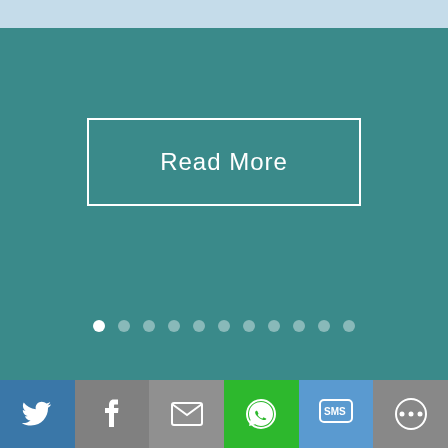[Figure (screenshot): Teal/dark cyan background section with a 'Read More' button outlined in white, and a row of dot pagination indicators below it.]
Read More
[Figure (screenshot): Purple section with ogee/scale decorative pattern background containing a contact form with First Name and Email Address fields and a Message label, plus a scroll-to-top button and social sharing bar at the bottom.]
First Name *
E.g. John
Email Address *
E.g. john@doe.com
Message